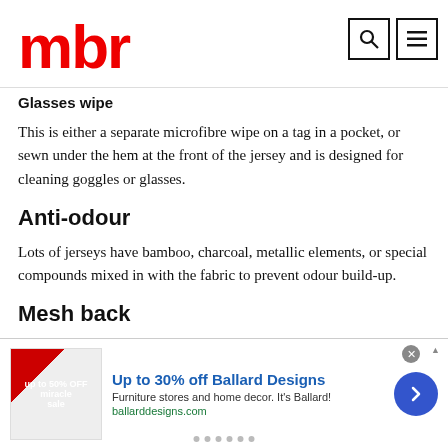mbr
Glasses wipe
This is either a separate microfibre wipe on a tag in a pocket, or sewn under the hem at the front of the jersey and is designed for cleaning goggles or glasses.
Anti-odour
Lots of jerseys have bamboo, charcoal, metallic elements, or special compounds mixed in with the fabric to prevent odour build-up.
Mesh back
Mountain bikers often ride with a pack, so to increase wicking…
[Figure (other): Advertisement banner for Ballard Designs: Up to 30% off Ballard Designs. Furniture stores and home decor. It's Ballard! ballarddesigns.com]